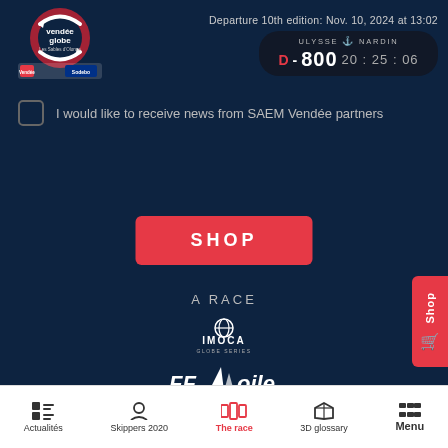Departure 10th edition: Nov. 10, 2024 at 13:02 | D - 800 20:25:06
[Figure (logo): Vendée Globe logo with red circular arrow and sailing icons, Vendée and Sodebo sponsor logos below]
[Figure (logo): Ulysse Nardin countdown timer showing D - 800 20:25:06]
I would like to receive news from SAEM Vendée partners
SHOP
A RACE
[Figure (logo): IMOCA Globe Series logo in white]
[Figure (logo): FFVoile logo in white]
Actualités | Skippers 2020 | The race | 3D glossary | Menu